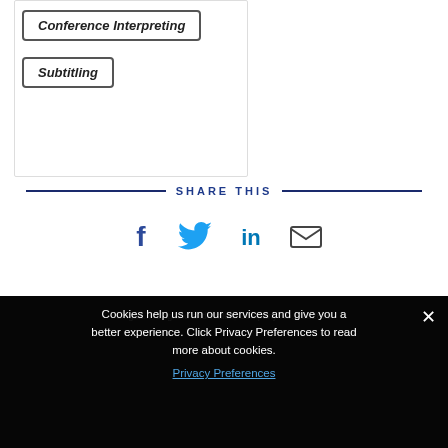Conference Interpreting
Subtitling
SHARE THIS
[Figure (infographic): Social share icons: Facebook, Twitter, LinkedIn, Email]
Cookies help us run our services and give you a better experience. Click Privacy Preferences to read more about cookies. Privacy Preferences